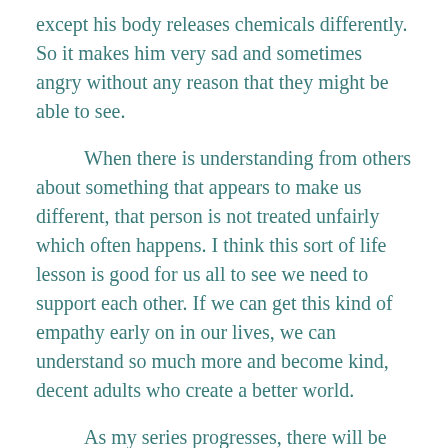except his body releases chemicals differently. So it makes him very sad and sometimes angry without any reason that they might be able to see.
When there is understanding from others about something that appears to make us different, that person is not treated unfairly which often happens. I think this sort of life lesson is good for us all to see we need to support each other. If we can get this kind of empathy early on in our lives, we can understand so much more and become kind, decent adults who create a better world.
As my series progresses, there will be more stories children will be able to relate to. Again, we are all the same in that we need love and respect. I hope my efforts help to bring this to light.